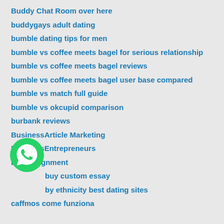Buddy Chat Room over here
buddygays adult dating
bumble dating tips for men
bumble vs coffee meets bagel for serious relationship
bumble vs coffee meets bagel reviews
bumble vs coffee meets bagel user base compared
bumble vs match full guide
bumble vs okcupid comparison
burbank reviews
BusinessArticle Marketing
BusinessEntrepreneurs
buy assignment
buy custom essay
by ethnicity best dating sites
caffmos come funziona